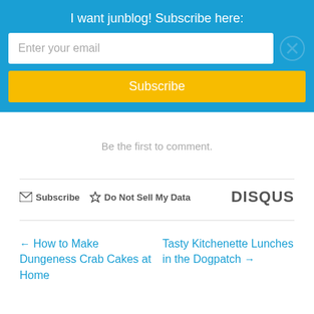I want junblog! Subscribe here:
Enter your email
Subscribe
Be the first to comment.
Subscribe   Do Not Sell My Data   DISQUS
← How to Make Dungeness Crab Cakes at Home
Tasty Kitchenette Lunches in the Dogpatch →